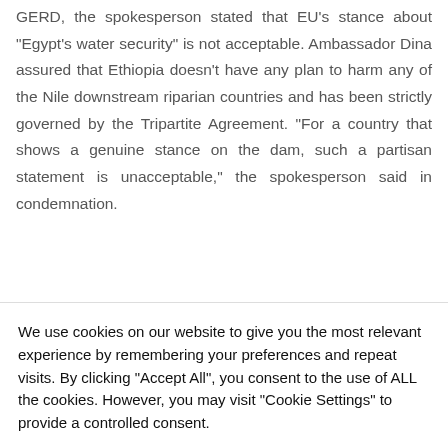GERD, the spokesperson stated that EU's stance about "Egypt's water security" is not acceptable. Ambassador Dina assured that Ethiopia doesn't have any plan to harm any of the Nile downstream riparian countries and has been strictly governed by the Tripartite Agreement. "For a country that shows a genuine stance on the dam, such a partisan statement is unacceptable," the spokesperson said in condemnation.
We use cookies on our website to give you the most relevant experience by remembering your preferences and repeat visits. By clicking "Accept All", you consent to the use of ALL the cookies. However, you may visit "Cookie Settings" to provide a controlled consent.